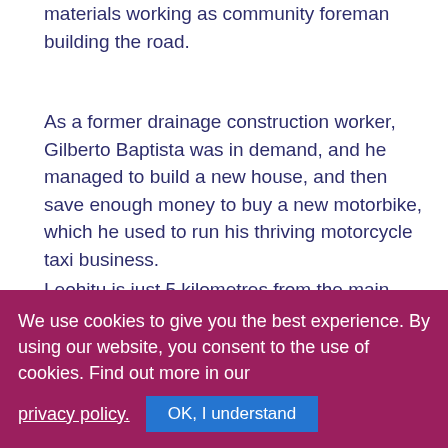materials working as community foreman building the road.
As a former drainage construction worker, Gilberto Baptista was in demand, and he managed to build a new house, and then save enough money to buy a new motorbike, which he used to run his thriving motorcycle taxi business.
Leohitu is just 5 kilometres from the main town of Balibo, but it might well have been a world away before the road construction. Two years ago, when the road was a dangerous, potholed rural track, Baptista earned $10 per week, occasionally taking people to Balibo. Now his weekly
We use cookies to give you the best experience. By using our website, you consent to the use of cookies. Find out more in our privacy policy. OK, I understand